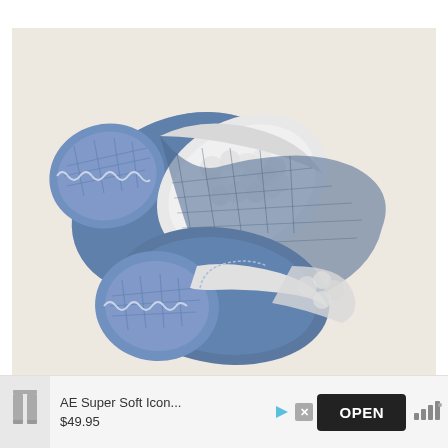[Figure (photo): Two denim baby booties/shoes with white sherpa/fleece lining, photographed on a light beige/cream background. The shoes are made from blue denim fabric on the outside with white fluffy lining visible inside and around the edges.]
AE Super Soft Icon... $49.95 OPEN